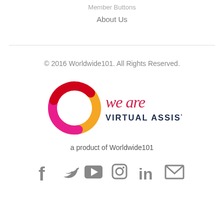Member Buttons
About Us
© 2016 Worldwide101. All Rights Reserved.
[Figure (logo): We Are Virtual Assistants logo — circular swirl in orange, red, and pink with script text 'we are' in red and bold text 'VIRTUAL ASSISTANTS' in dark navy]
a product of Worldwide101
[Figure (infographic): Social media icons: Facebook, Twitter, YouTube, Instagram, LinkedIn, Email (envelope)]